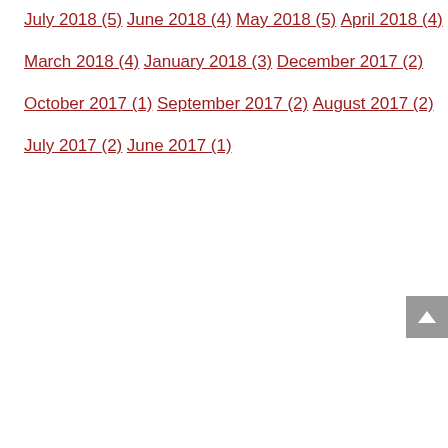July 2018 (5)
June 2018 (4)
May 2018 (5)
April 2018 (4)
March 2018 (4)
January 2018 (3)
December 2017 (2)
October 2017 (1)
September 2017 (2)
August 2017 (2)
July 2017 (2)
June 2017 (1)